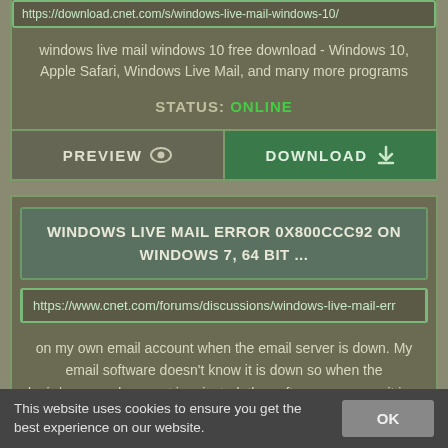https://download.cnet.com/s/windows-live-mail-windows-10/
windows live mail windows 10 free download - Windows 10, Apple Safari, Windows Live Mail, and many more programs
STATUS: ONLINE
PREVIEW
DOWNLOAD
WINDOWS LIVE MAIL ERROR 0X800CCC92 ON WINDOWS 7, 64 BIT ...
https://www.cnet.com/forums/discussions/windows-live-mail-err
on my own email account when the email server is down. My email software doesn't know it is down so when the login/password request is rejected, the software assumes it is a problem with my login ...
This website uses cookies to ensure you get the best experience on our website.